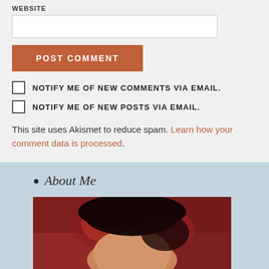WEBSITE
POST COMMENT
NOTIFY ME OF NEW COMMENTS VIA EMAIL.
NOTIFY ME OF NEW POSTS VIA EMAIL.
This site uses Akismet to reduce spam. Learn how your comment data is processed.
About Me
[Figure (photo): Portrait photo of a person with dark hair and a red/pink patterned background]